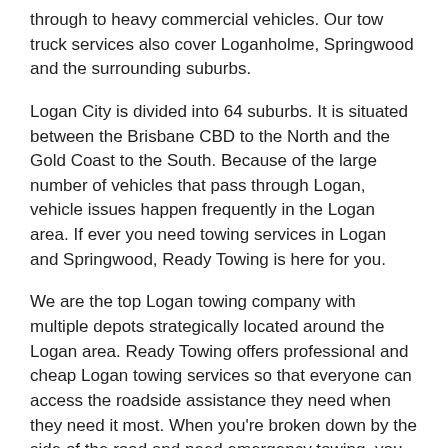through to heavy commercial vehicles. Our tow truck services also cover Loganholme, Springwood and the surrounding suburbs.
Logan City is divided into 64 suburbs. It is situated between the Brisbane CBD to the North and the Gold Coast to the South. Because of the large number of vehicles that pass through Logan, vehicle issues happen frequently in the Logan area. If ever you need towing services in Logan and Springwood, Ready Towing is here for you.
We are the top Logan towing company with multiple depots strategically located around the Logan area. Ready Towing offers professional and cheap Logan towing services so that everyone can access the roadside assistance they need when they need it most. When you're broken down by the side of the road and need emergency towing, you can confidently rely on Ready Towing to move you to safety.
For emergencies, please contact any of the Police Beats located centrally in Logan City. The Logan Central Police Station can be reached at (07) 3826 1888.